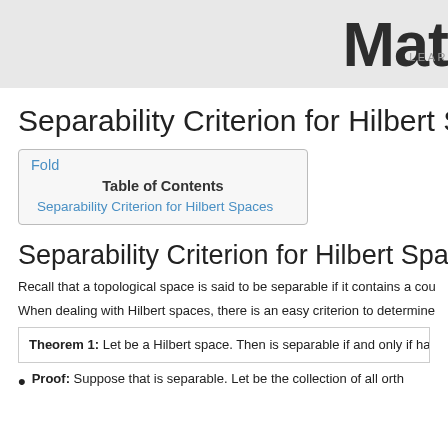Mat LEARN
Separability Criterion for Hilbert Sp
| Fold |
| Table of Contents |
| Separability Criterion for Hilbert Spaces |
Separability Criterion for Hilbert Spac
Recall that a topological space is said to be separable if it contains a cou...
When dealing with Hilbert spaces, there is an easy criterion to determine...
Theorem 1: Let be a Hilbert space. Then is separable if and only if has...
Proof: Suppose that is separable. Let be the collection of all orth...